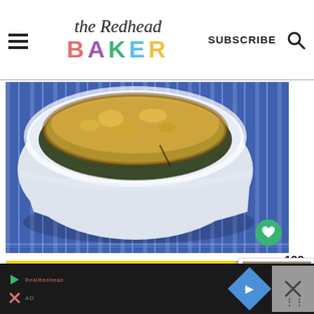the Redhead BAKER — SUBSCRIBE (search icon)
[Figure (photo): A white ceramic baking dish containing a cheesy baked spinach and tomato gratin, resting on a blue and white striped cloth/towel. The dish has a golden browned cheese topping with visible green spinach and red tomatoes underneath.]
129
[Figure (infographic): Yellow advertisement banner: stamp-like logo, 'It's okay to question. Now get the facts on COVID-19 vaccines.' with GetVaccines button, and a photo of food items.]
[Figure (screenshot): Sidebar card showing 'WHAT' label and partial text 'Fig, Go... Cheese and...' with a thumbnail photo.]
[Figure (infographic): Bottom dark bar with play/close icons, advertisement label, a blue diamond navigation arrow button, and a temperature/settings icon. Close X button on right.]